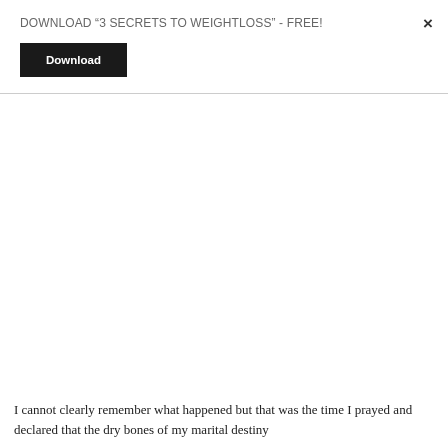DOWNLOAD “3 SECRETS TO WEIGHTLOSS” - FREE!
Download
×
I cannot clearly remember what happened but that was the time I prayed and declared that the dry bones of my marital destiny